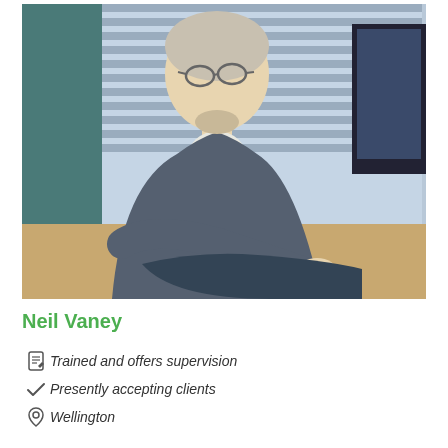[Figure (photo): An elderly man with white hair and glasses, wearing a grey cardigan and white shirt, sitting at a desk using a computer mouse, with venetian blinds and a monitor visible in the background.]
Neil Vaney
Trained and offers supervision
Presently accepting clients
Wellington